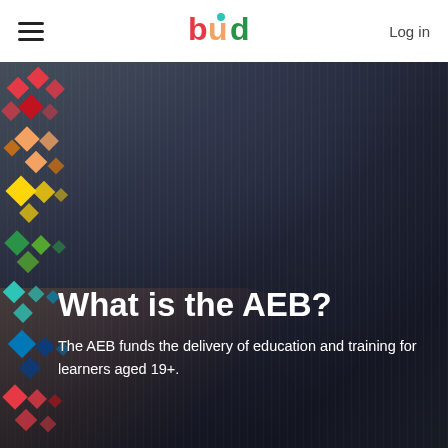bud — Log in
[Figure (photo): Hero image of a person in a dark pinstripe blazer working at a laptop, with colorful pixel/diamond decorative pattern on the left side overlaying the image]
What is the AEB?
The AEB funds the delivery of education and training for learners aged 19+.